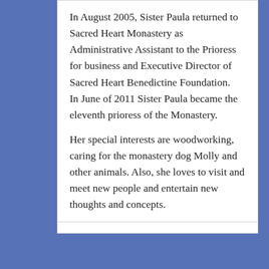In August 2005, Sister Paula returned to Sacred Heart Monastery as Administrative Assistant to the Prioress for business and Executive Director of Sacred Heart Benedictine Foundation.   In June of 2011 Sister Paula became the eleventh prioress of the Monastery.
Her special interests are woodworking, caring for the monastery dog Molly and other animals. Also, she loves to visit and meet new people and entertain new thoughts and concepts.
Sister Phoebe Schwartze
[Figure (photo): Portrait photo of Sister Phoebe Schwartze, showing head and shoulders against a gray background]
Sister Phoebe was born